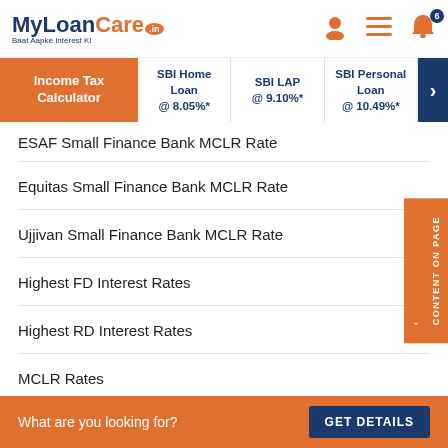MyLoanCare.in — Baat Aapke Interest Ki
Income Tax Calculator | SBI Home Loan @ 8.05%* | SBI LAP @ 9.10%* | SBI Personal Loan @ 10.49%*
ESAF Small Finance Bank MCLR Rate
Equitas Small Finance Bank MCLR Rate
Ujjivan Small Finance Bank MCLR Rate
Highest FD Interest Rates
Highest RD Interest Rates
MCLR Rates
What are you looking for?
GET DETAILS